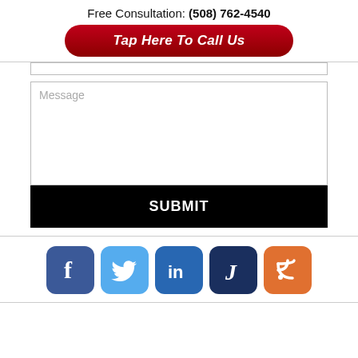Free Consultation: (508) 762-4540
Tap Here To Call Us
Message
SUBMIT
[Figure (infographic): Row of 5 social media icon buttons: Facebook (blue), Twitter (light blue), LinkedIn (blue), Justia (dark navy), RSS (orange)]